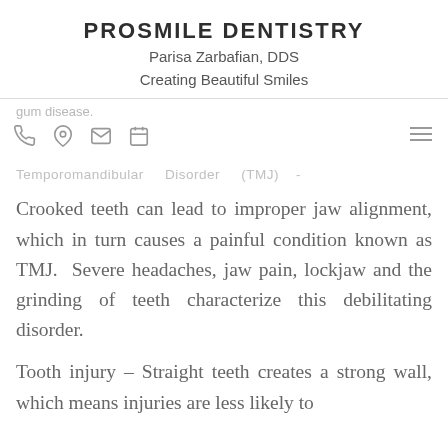PROSMILE DENTISTRY
Parisa Zarbafian, DDS
Creating Beautiful Smiles
gum disease.
Temporomandibular   Disorder   (TMJ)  -
Crooked teeth can lead to improper jaw alignment, which in turn causes a painful condition known as TMJ.  Severe headaches, jaw pain, lockjaw and the grinding of teeth characterize this debilitating disorder.
Tooth injury – Straight teeth creates a strong wall, which means injuries are less likely to